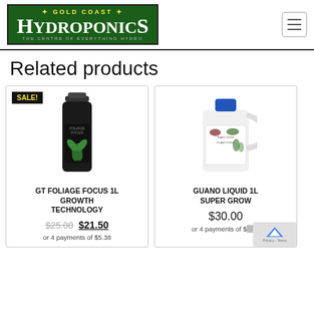[Figure (logo): Gold Coast Hydroponics logo — green background with yellow and white text]
Related products
[Figure (photo): GT Foliage Focus 1L Growth Technology bottle — dark/black bottle with green foliage design, SALE! badge]
GT FOLIAGE FOCUS 1L GROWTH TECHNOLOGY
$25.00 $21.50
or 4 payments of $5.38
[Figure (photo): Guano Liquid 1L Super Grow — white jug/bottle with blue cap and Super Grow label]
GUANO LIQUID 1L SUPER GROW
$30.00
or 4 payments of $7.50